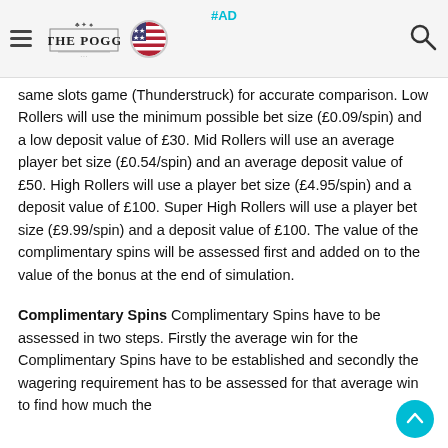#AD | THE POGG [logo] [US flag] [search]
same slots game (Thunderstruck) for accurate comparison. Low Rollers will use the minimum possible bet size (£0.09/spin) and a low deposit value of £30. Mid Rollers will use an average player bet size (£0.54/spin) and an average deposit value of £50. High Rollers will use a player bet size (£4.95/spin) and a deposit value of £100. Super High Rollers will use a player bet size (£9.99/spin) and a deposit value of £100. The value of the complimentary spins will be assessed first and added on to the value of the bonus at the end of simulation.
Complimentary Spins Complimentary Spins have to be assessed in two steps. Firstly the average win for the Complimentary Spins have to be established and secondly the wagering requirement has to be assessed for that average win to find how much the